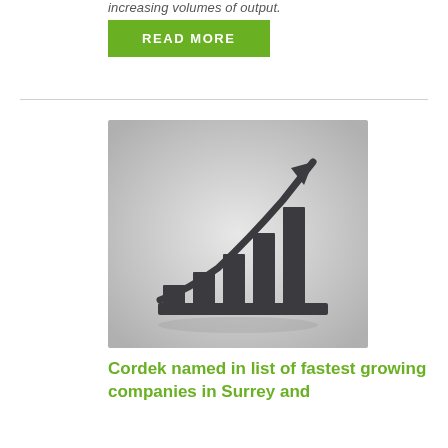increasing volumes of output.
READ MORE
[Figure (illustration): Bar chart icon with rising arrow overlay on grey gradient background, depicting business growth]
Cordek named in list of fastest growing companies in Surrey and